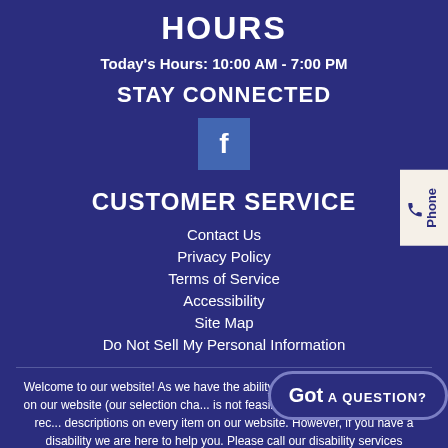HOURS
Today's Hours: 10:00 AM - 7:00 PM
STAY CONNECTED
[Figure (logo): Facebook 'f' logo icon in a blue square]
CUSTOMER SERVICE
Contact Us
Privacy Policy
Terms of Service
Accessibility
Site Map
Do Not Sell My Personal Information
Welcome to our website! As we have the ability to list over one million items on our website (our selection cha... is not feasible for a company our size to rec... descriptions on every item on our website. However, if you have a disability we are here to help you. Please call our disability services
[Figure (other): Got a Question? chat button overlay]